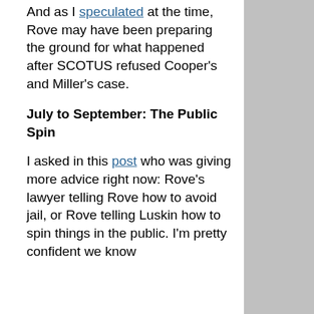And as I speculated at the time, Rove may have been preparing the ground for what happened after SCOTUS refused Cooper's and Miller's case.
July to September: The Public Spin
I asked in this post who was giving more advice right now: Rove's lawyer telling Rove how to avoid jail, or Rove telling Luskin how to spin things in the public. I'm pretty confident we know